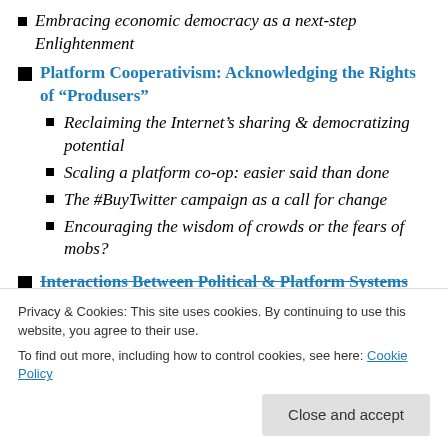Embracing economic democracy as a next-step Enlightenment
Platform Cooperativism: Acknowledging the Rights of “Produsers”
Reclaiming the Internet’s sharing & democratizing potential
Scaling a platform co-op: easier said than done
The #BuyTwitter campaign as a call for change
Encouraging the wisdom of crowds or the fears of mobs?
Interactions Between Political & Platform Systems
Privacy & Cookies: This site uses cookies. By continuing to use this website, you agree to their use.
To find out more, including how to control cookies, see here: Cookie Policy